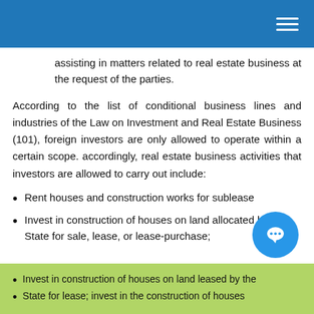assisting in matters related to real estate business at the request of the parties.
According to the list of conditional business lines and industries of the Law on Investment and Real Estate Business (101), foreign investors are only allowed to operate within a certain scope. accordingly, real estate business activities that investors are allowed to carry out include:
Rent houses and construction works for sublease
Invest in construction of houses on land allocated by the State for sale, lease, or lease-purchase;
Invest in construction of houses on land leased by the State for lease; invest in the construction of houses